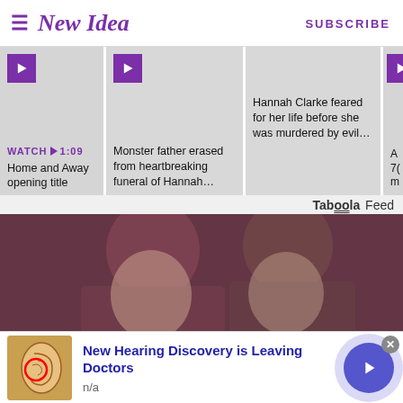New Idea  SUBSCRIBE
[Figure (screenshot): Video thumbnail strip with play buttons and article titles: 'WATCH 1:09 Home and Away opening title', 'Monster father erased from heartbreaking funeral of Hannah...', 'Hannah Clarke feared for her life before she was murdered by evil...']
Taboola Feed
[Figure (photo): Vintage photo of a young couple, woman with dark hair on the left and young man on the right, both looking at camera]
[Figure (infographic): Advertisement: 'New Hearing Discovery is Leaving Doctors' with ear anatomy illustration, source 'n/a', blue CTA arrow button, and close X button]